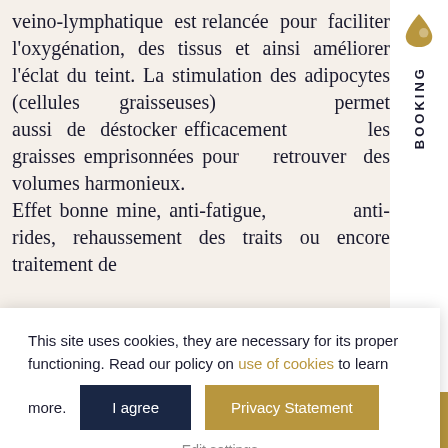veino-lymphatique est relancée pour faciliter l'oxygénation, des tissus et ainsi améliorer l'éclat du teint. La stimulation des adipocytes (cellules graisseuses) permet aussi de déstocker efficacement les graisses emprisonnées pour retrouver des volumes harmonieux. Effet bonne mine, anti-fatigue, anti-rides, rehaussement des traits ou encore traitement de
[Figure (logo): Gold drop/teardrop shaped icon on white sidebar background]
BOOKING
This site uses cookies, they are necessary for its proper functioning. Read our policy on use of cookies to learn more.
I agree
Privacy Statement
Edit settings
Abonnement
Votre kit endermologie